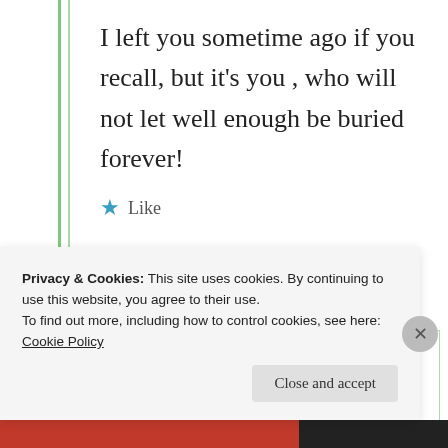I left you sometime ago if you recall, but it's you , who will not let well enough be buried forever!
★ Like
Suma Reddy
Privacy & Cookies: This site uses cookies. By continuing to use this website, you agree to their use.
To find out more, including how to control cookies, see here: Cookie Policy
Close and accept